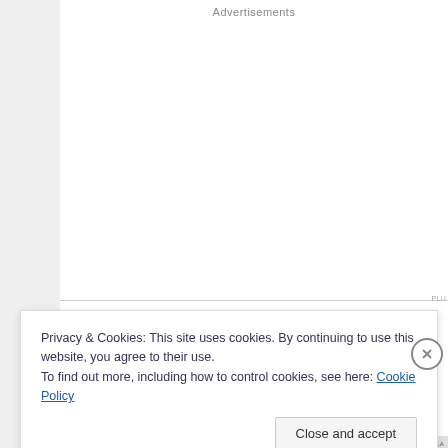Advertisements
Privacy & Cookies: This site uses cookies. By continuing to use this website, you agree to their use.
To find out more, including how to control cookies, see here: Cookie Policy
Close and accept